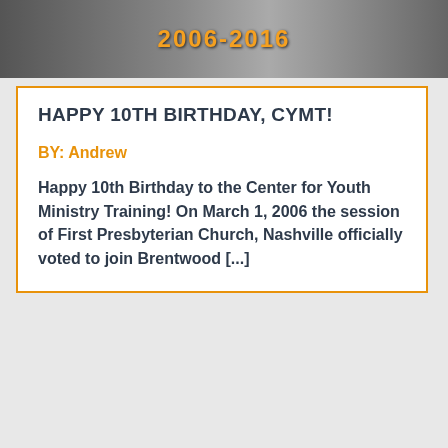[Figure (photo): Black and white photo strip showing people around a table with anniversary text overlay '2006-2016' in orange]
HAPPY 10TH BIRTHDAY, CYMT!
BY: Andrew
Happy 10th Birthday to the Center for Youth Ministry Training! On March 1, 2006 the session of First Presbyterian Church, Nashville officially voted to join Brentwood [...]
POWERED BY SUMO
Have questions about CYMT?
Schedule a one-on-one chat with our admissions staff!
Schedule Now